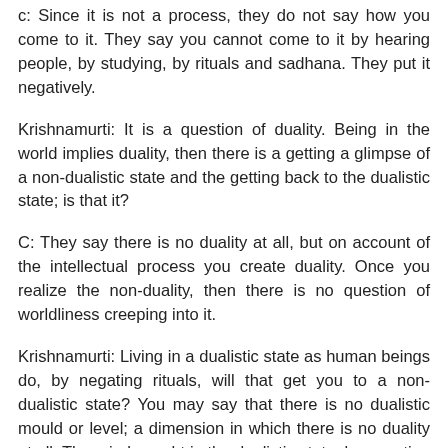c: Since it is not a process, they do not say how you come to it. They say you cannot come to it by hearing people, by studying, by rituals and sadhana. They put it negatively.
Krishnamurti: It is a question of duality. Being in the world implies duality, then there is a getting a glimpse of a non-dualistic state and the getting back to the dualistic state; is that it?
C: They say there is no duality at all, but on account of the intellectual process you create duality. Once you realize the non-duality, then there is no question of worldliness creeping into it.
Krishnamurti: Living in a dualistic state as human beings do, by negating rituals, will that get you to a non-dualistic state? You may say that there is no dualistic mould or level; a dimension in which there is no duality at all. The mind caught in the dualistic state, by negating beliefs, rituals, etc., will it come to the “other”? Is that what the tradition says? Shall we approach this problem